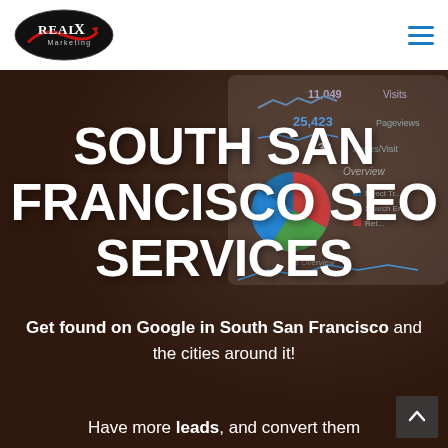[Figure (logo): RealX Marketing logo — oval black badge with red arrow and white text]
[Figure (illustration): Hamburger menu icon with three blue horizontal lines]
[Figure (screenshot): Analytics dashboard screenshot showing visits 11,049; pageviews 25,423; pages/visit 3.32; a pie chart; and channel breakdown (Direct Traffic, Search Engine, Referral)]
SOUTH SAN FRANCISCO SEO SERVICES
Get found on Google in South San Francisco and the cities around it!
Have more leads, and convert them